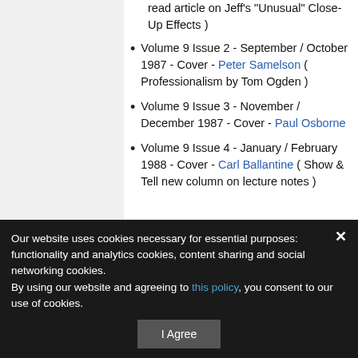read article on Jeff's "Unusual" Close-Up Effects )
Volume 9 Issue 2 - September / October 1987 - Cover - Peter Samelson ( Professionalism by Tom Ogden )
Volume 9 Issue 3 - November / December 1987 - Cover - Paul Osborne
Volume 9 Issue 4 - January / February 1988 - Cover - Carl Ballantine ( Show & Tell new column on lecture notes )
Our website uses cookies necessary for essential purposes: functionality and analytics cookies, content sharing and social networking cookies.
By using our website and agreeing to this policy, you consent to our use of cookies.